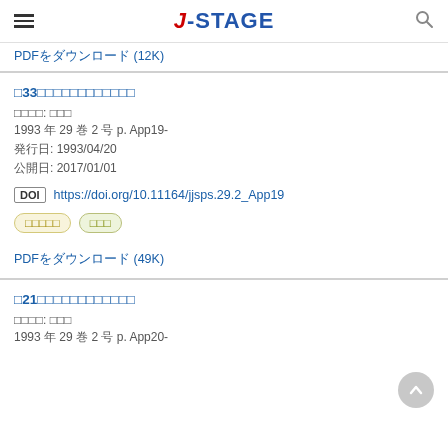J-STAGE
PDFをダウンロード (12K)
□33□□□□□□□□□□□□□
著者情報: 田中　茂
1993 年 29 巻 2 号 p. App19-
発行日: 1993/04/20
公開日: 2017/01/01
DOI https://doi.org/10.11164/jjsps.29.2_App19
メインコンテンツ　抄録
PDFをダウンロード (49K)
□21□□□□□□□□□□□□□
著者情報: 田中　茂
1993 年 29 巻 2 号 p. App20-